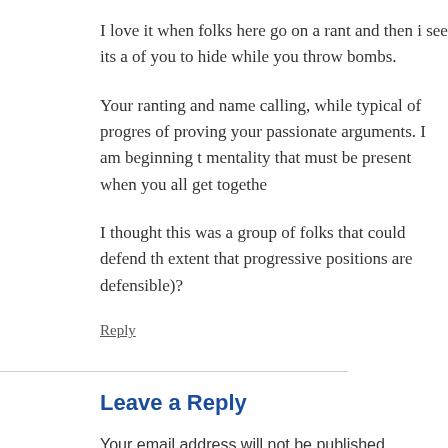I love it when folks here go on a rant and then i see its of you to hide while you throw bombs.
Your ranting and name calling, while typical of progres of proving your passionate arguments. I am beginning t mentality that must be present when you all get togethe
I thought this was a group of folks that could defend th extent that progressive positions are defensible)?
Reply
Leave a Reply
Your email address will not be published. Required fields are m
Comment *